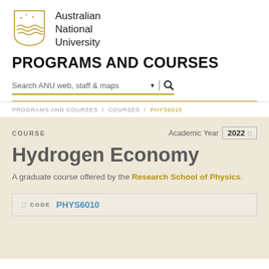[Figure (logo): Australian National University shield logo with stars and waves in gold/tan]
Australian National University
PROGRAMS AND COURSES
Search ANU web, staff & maps
PROGRAMS AND COURSES / COURSES / PHYS6010
COURSE
Academic Year 2022
Hydrogen Economy
A graduate course offered by the Research School of Physics.
CODE PHYS6010